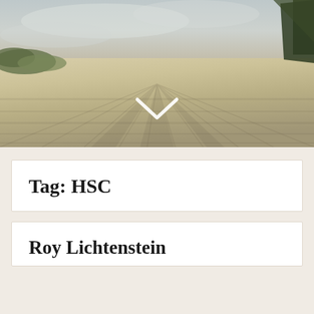[Figure (photo): Aerial or perspective view of a rocky/sandy landscape with striped or lined texture, overcast sky, and dark pine tree in upper right corner. A white chevron/down arrow is overlaid in the center of the image.]
Tag: HSC
Roy Lichtenstein